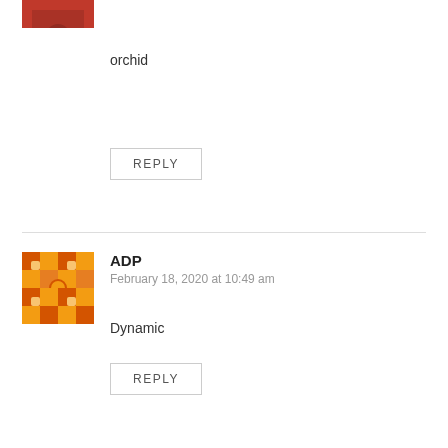[Figure (illustration): Partial avatar image at top left, cropped, dark reddish colors]
orchid
REPLY
[Figure (illustration): Orange geometric pattern avatar for ADP]
ADP
February 18, 2020 at 10:49 am
Dynamic
REPLY
[Figure (illustration): Blue/purple geometric pattern avatar for Dedra Girardi]
Dedra Girardi
March 9, 2020 at 9:14 pm
Are you looking for effective online marketing that doesn't charge a fortune and gets amazing resuts? Sorry to bug you on your contact form but actually that was the whole